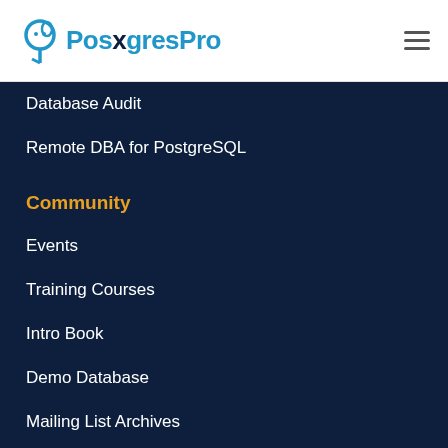PostgresPro
Database Audit
Remote DBA for PostgreSQL
Community
Events
Training Courses
Intro Book
Demo Database
Mailing List Archives
By continuing to browse this website, you agree to the use of cookies. Go to Privacy Policy.
I accept cookies